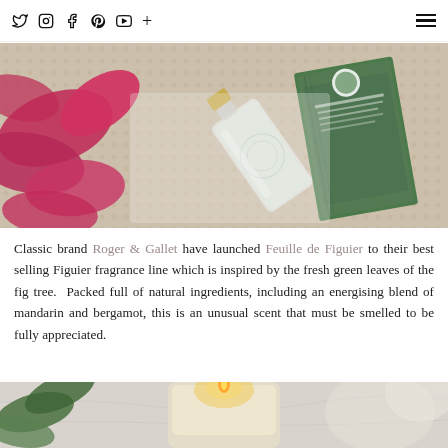Social media icons: Twitter, Instagram, Facebook, Pinterest, YouTube, Plus; Hamburger menu
[Figure (photo): Flatlay of a Roger & Gallet Feuille de Figuier perfume bottle alongside its green box, with pink flower petals, on a decorative fabric surface]
Classic brand Roger & Gallet have launched Feuille de Figuier to their best selling Figuier fragrance line which is inspired by the fresh green leaves of the fig tree. Packed full of natural ingredients, including an energising blend of mandarin and bergamot, this is an unusual scent that must be smelled to be fully appreciated.
[Figure (photo): Close-up of a lit candle in a glass jar on a marble surface, with soft bokeh background]